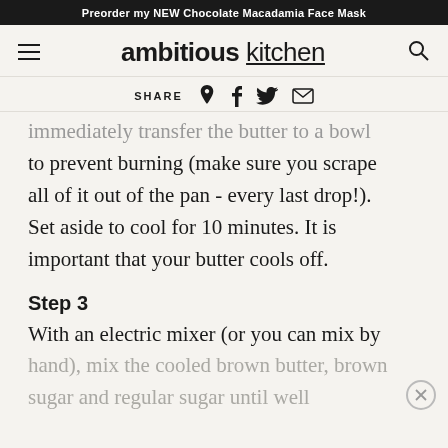Preorder my NEW Chocolate Macadamia Face Mask
[Figure (logo): ambitious kitchen logo with hamburger menu and search icon]
SHARE (with Pinterest, Facebook, Twitter, Email icons)
immediately transfer the butter to a bowl to prevent burning (make sure you scrape all of it out of the pan - every last drop!). Set aside to cool for 10 minutes. It is important that your butter cools off.
Step 3
With an electric mixer (or you can mix by hand), mix the cooled brown butter, brown sugar and regular sugar until well